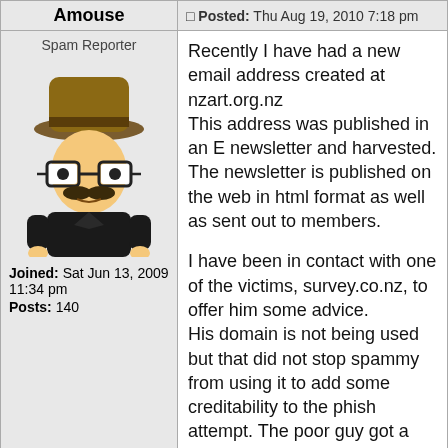Amouse
Posted: Thu Aug 19, 2010 7:18 pm
Spam Reporter
[Figure (illustration): South Park style cartoon character avatar: a small figure wearing a brown fedora hat, glasses with large round lenses, a black coat, and a mustache.]
Joined: Sat Jun 13, 2009 11:34 pm
Posts: 140
Recently I have had a new email address created at nzart.org.nz
This address was published in an E newsletter and harvested. The newsletter is published on the web in html format as well as sent out to members.

I have been in contact with one of the victims, survey.co.nz, to offer him some advice.
His domain is not being used but that did not stop spammy from using it to add some creditability to the phish attempt. The poor guy got a number of phone calls from